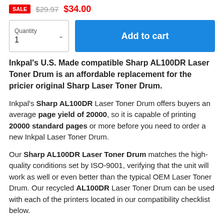SALE $29.97 $34.00
Quantity 1 | Add to cart
Inkpal's U.S. Made compatible Sharp AL100DR Laser Toner Drum is an affordable replacement for the pricier original Sharp Laser Toner Drum.
Inkpal's Sharp AL100DR Laser Toner Drum offers buyers an average page yield of 20000, so it is capable of printing 20000 standard pages or more before you need to order a new Inkpal Laser Toner Drum.
Our Sharp AL100DR Laser Toner Drum matches the high-quality conditions set by ISO-9001, verifying that the unit will work as well or even better than the typical OEM Laser Toner Drum. Our recycled AL100DR Laser Toner Drum can be used with each of the printers located in our compatibility checklist below.